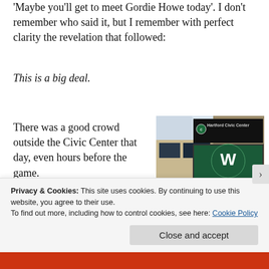'Maybe you'll get to meet Gordie Howe today'. I don't remember who said it, but I remember with perfect clarity the revelation that followed:
This is a big deal.
There was a good crowd outside the Civic Center that day, even hours before the game.
[Figure (photo): Photo of the Hartford Civic Center building exterior showing the building facade, Hartford Whalers logo sign in green, and Hartford Civic Center signage on a dark marquee board. Multiple advertising banners are visible.]
Privacy & Cookies: This site uses cookies. By continuing to use this website, you agree to their use.
To find out more, including how to control cookies, see here: Cookie Policy
Close and accept